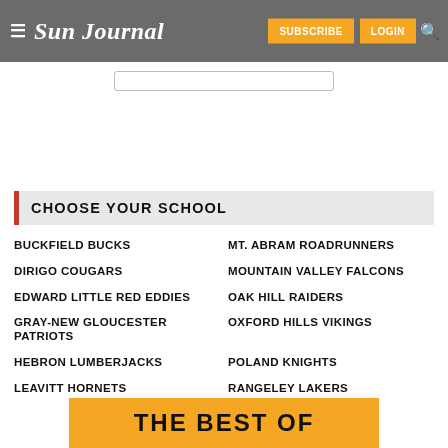Sun Journal — SUBSCRIBE LOGIN
CHOOSE YOUR SCHOOL
BUCKFIELD BUCKS
MT. ABRAM ROADRUNNERS
DIRIGO COUGARS
MOUNTAIN VALLEY FALCONS
EDWARD LITTLE RED EDDIES
OAK HILL RAIDERS
GRAY-NEW GLOUCESTER PATRIOTS
OXFORD HILLS VIKINGS
HEBRON LUMBERJACKS
POLAND KNIGHTS
LEAVITT HORNETS
RANGELEY LAKERS
THE BEST OF